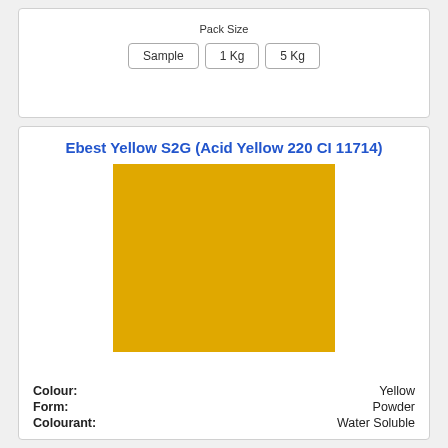Pack Size
Sample  1 Kg  5 Kg
Ebest Yellow S2G (Acid Yellow 220 CI 11714)
[Figure (illustration): Large golden-yellow color swatch rectangle representing the dye color]
Colour: Yellow
Form: Powder
Colourant: Water Soluble